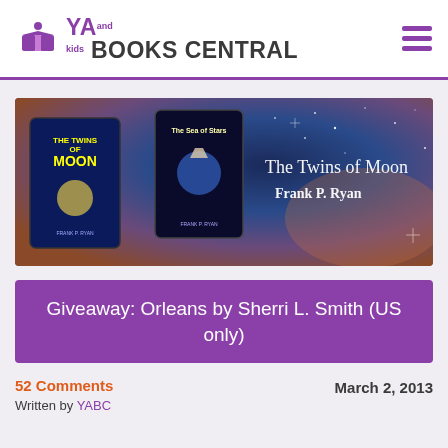YA and kids BOOKS CENTRAL
[Figure (illustration): Promotional banner for 'The Twins of Moon' by Frank P. Ryan showing two fantasy book covers against a starry space background, with the text 'The Twins of Moon Frank P. Ryan' on the right side.]
Giveaway: Orleans by Sherri L. Smith (US only)
52 Comments
Written by YABC
March 2, 2013